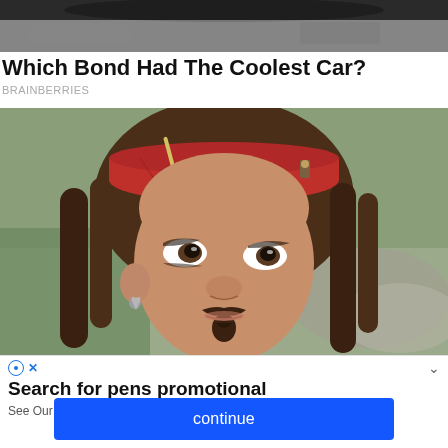[Figure (photo): Top portion of a car (dark, partially cropped at top edge)]
Which Bond Had The Coolest Car?
BRAINBERRIES
[Figure (photo): Close-up portrait of a man dressed as a pirate with a red headband, dreadlocks, and eyeliner — resembling the character Jack Sparrow]
Search for pens promotional
See Our Most Relevant Deals for Promotional Pens On Yahoo Now
continue